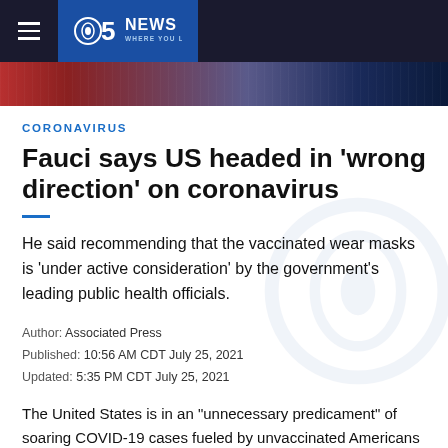5NEWS WHERE YOU LIVE
[Figure (photo): Hero image strip showing partial news background]
CORONAVIRUS
Fauci says US headed in 'wrong direction' on coronavirus
He said recommending that the vaccinated wear masks is 'under active consideration' by the government's leading public health officials.
Author: Associated Press
Published: 10:56 AM CDT July 25, 2021
Updated: 5:35 PM CDT July 25, 2021
The United States is in an "unnecessary predicament" of soaring COVID-19 cases fueled by unvaccinated Americans